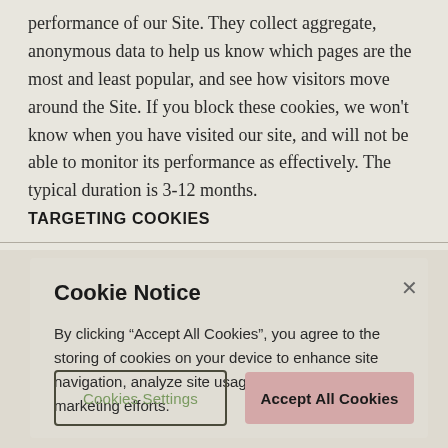performance of our Site. They collect aggregate, anonymous data to help us know which pages are the most and least popular, and see how visitors move around the Site. If you block these cookies, we won't know when you have visited our site, and will not be able to monitor its performance as effectively. The typical duration is 3-12 months.
TARGETING COOKIES
Cookie Notice
By clicking “Accept All Cookies”, you agree to the storing of cookies on your device to enhance site navigation, analyze site usage, and assist in our marketing efforts.
Cookies Settings
Accept All Cookies